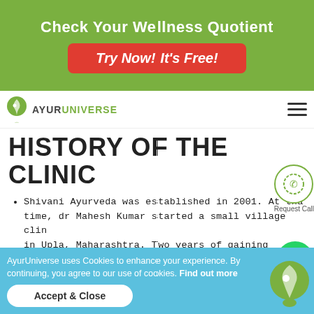[Figure (infographic): Green banner advertisement: 'Check Your Wellness Quotient' with a red button 'Try Now! It's Free!']
AYURUNIVERSE (logo and navigation bar)
HISTORY OF THE CLINIC
Shivani Ayurveda was established in 2001. At that time, dr Mahesh Kumar started a small village clinic in Upla, Maharashtra. Two years of gaining experience were enough to enable him to move up to the North India, in Bhagsunag, Himachal Pradesh in 2003. This was the moment when dr Shivani Sood joined the team, after compl...
Since 2006 Shivani Ayurveda...
AyurUniverse uses Cookies to enhance your experience. By continuing, you agree to our use of cookies. Find out more
Accept & Close